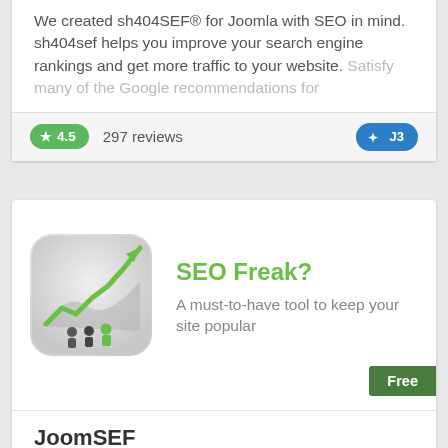We created sh404SEF® for Joomla with SEO in mind. sh404sef helps you improve your search engine rankings and get more traffic to your website. Satisfy many of the Google recommendations for
★ 4.5   297 reviews   J3
[Figure (illustration): SEO Freak app icon showing a green upward arrow chart with people silhouettes below, on a rounded square grey background]
SEO Freak?
A must-to-have tool to keep your site popular
Free
JoomSEF
By ARTIO
SEF
SEO component to make your Joomla! URLs SEF (search engine friendly) and easily human